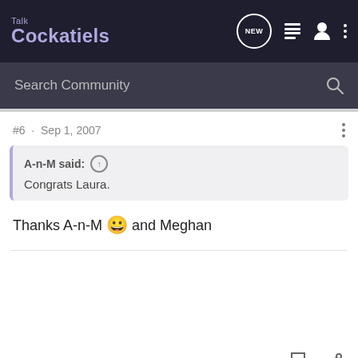Talk Cockatiels
Search Community
#6 · Sep 1, 2007
A-n-M said: ↑
Congrats Laura.
Thanks A-n-M 😀 and Meghan
birdieness · Registered